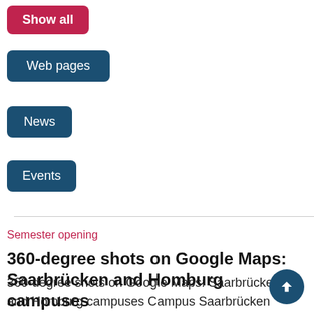Show all
Web pages
News
Events
Semester opening
360-degree shots on Google Maps: Saarbrücken and Homburg campuses
360-degree shots on Google Maps: Saarbrücken and Homburg campuses Campus Saarbrücken What does a lecture theatre look like from the inside? What is special about the Mensa, the university's main stude